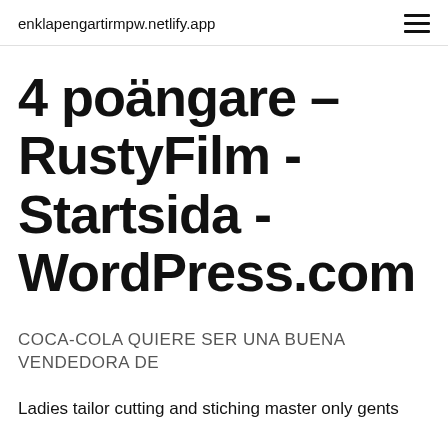enklapengartirmpw.netlify.app
4 poängare – RustyFilm - Startsida - WordPress.com
COCA-COLA QUIERE SER UNA BUENA VENDEDORA DE
Ladies tailor cutting and stiching master only gents